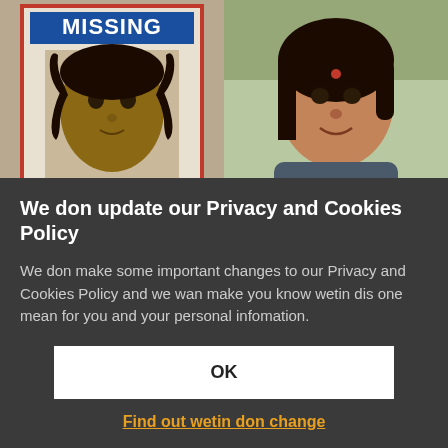[Figure (photo): Two photos side by side: left shows a MISSING person flyer with a young Black girl with braids/pigtails; right shows a young Indian teenage girl smiling, wearing a bindi]
We don update our Privacy and Cookies Policy
We don make some important changes to our Privacy and Cookies Policy and we wan make you know wetin dis one mean for you and your personal infomation.
OK
Find out wetin don change